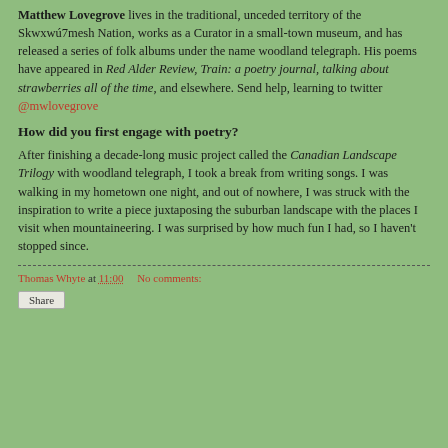Matthew Lovegrove lives in the traditional, unceded territory of the Skwxwú7mesh Nation, works as a Curator in a small-town museum, and has released a series of folk albums under the name woodland telegraph. His poems have appeared in Red Alder Review, Train: a poetry journal, talking about strawberries all of the time, and elsewhere. Send help, learning to twitter @mwlovegrove
How did you first engage with poetry?
After finishing a decade-long music project called the Canadian Landscape Trilogy with woodland telegraph, I took a break from writing songs. I was walking in my hometown one night, and out of nowhere, I was struck with the inspiration to write a piece juxtaposing the suburban landscape with the places I visit when mountaineering. I was surprised by how much fun I had, so I haven't stopped since.
Thomas Whyte at 11:00   No comments:
Share